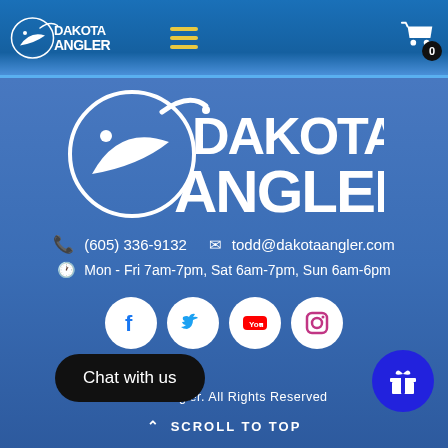Dakota Angler navigation bar with logo, hamburger menu, and cart icon
[Figure (logo): Dakota Angler logo - large white fish and hook graphic with DAKOTA ANGLER text]
(605) 336-9132   todd@dakotaangler.com
Mon - Fri 7am-7pm, Sat 6am-7pm, Sun 6am-6pm
[Figure (infographic): Social media icons: Facebook, Twitter, YouTube, Instagram - white circles on blue background]
Dakota Angler. All Rights Reserved
SCROLL TO TOP